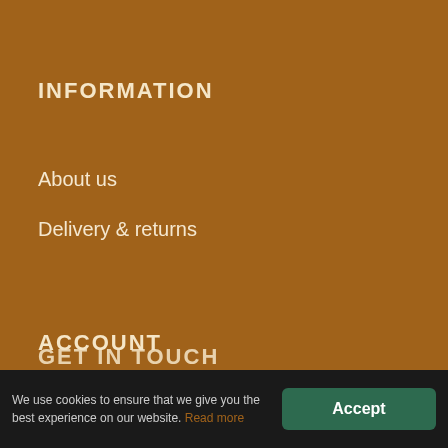INFORMATION
About us
Delivery & returns
ACCOUNT
My account
Shopping basket
Wholesale login
GET IN TOUCH
We use cookies to ensure that we give you the best experience on our website. Read more